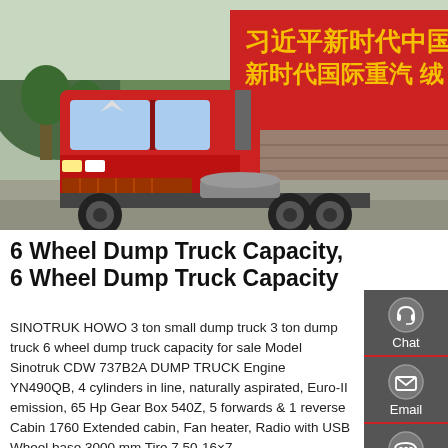[Figure (photo): A red SINOTRUK HOWO heavy dump truck parked in front of a building with Chinese banners/signage in the background. Trees visible on the left.]
6 Wheel Dump Truck Capacity, 6 Wheel Dump Truck Capacity
SINOTRUK HOWO 3 ton small dump truck 3 ton dump truck 6 wheel dump truck capacity for sale Model Sinotruk CDW 737B2A DUMP TRUCK Engine YN490QB, 4 cylinders in line, naturally aspirated, Euro-II emission, 65 Hp Gear Box 540Z, 5 forwards & 1 reverse Cabin 1760 Extended cabin, Fan heater, Radio with USB Wheel base 3000 mm Tire 7.50-16×7